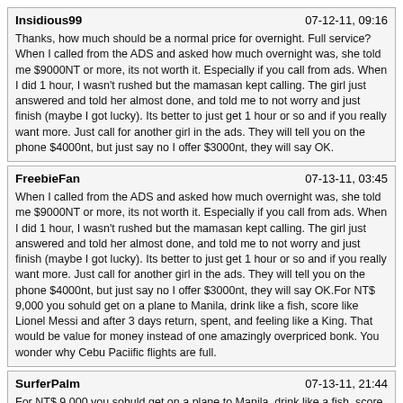Insidious99 | 07-12-11, 09:16
Thanks, how much should be a normal price for overnight. Full service?When I called from the ADS and asked how much overnight was, she told me $9000NT or more, its not worth it. Especially if you call from ads. When I did 1 hour, I wasn't rushed but the mamasan kept calling. The girl just answered and told her almost done, and told me to not worry and just finish (maybe I got lucky). Its better to just get 1 hour or so and if you really want more. Just call for another girl in the ads. They will tell you on the phone $4000nt, but just say no I offer $3000nt, they will say OK.
FreebieFan | 07-13-11, 03:45
When I called from the ADS and asked how much overnight was, she told me $9000NT or more, its not worth it. Especially if you call from ads. When I did 1 hour, I wasn't rushed but the mamasan kept calling. The girl just answered and told her almost done, and told me to not worry and just finish (maybe I got lucky). Its better to just get 1 hour or so and if you really want more. Just call for another girl in the ads. They will tell you on the phone $4000nt, but just say no I offer $3000nt, they will say OK.For NT$ 9,000 you sohuld get on a plane to Manila, drink like a fish, score like Lionel Messi and after 3 days return, spent, and feeling like a King. That would be value for money instead of one amazingly overpriced bonk. You wonder why Cebu Paciific flights are full.
SurferPalm | 07-13-11, 21:44
For NT$ 9,000 you sohuld get on a plane to Manila, drink like a fish, score like Lionel Messi and after 3 days return, spent, and feeling like a King. That would be value for money instead of one amazingly overpriced bonk. You wonder why Cebu Paciific flights are full.LOL. Now THAT is an interesting opinion!
SurferPalm | 07-13-11, 21:47